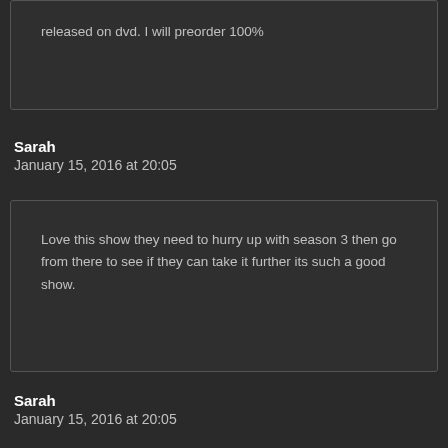released on dvd. I will preorder 100%
Sarah
January 15, 2016 at 20:05
Love this show they need to hurry up with season 3 then go from there to see if they can take it further its such a good show.
Sarah
January 15, 2016 at 20:05